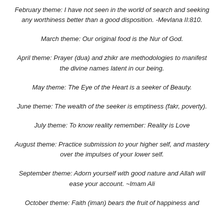February theme: I have not seen in the world of search and seeking any worthiness better than a good disposition. -Mevlana II:810.
March theme: Our original food is the Nur of God.
April theme: Prayer (dua) and zhikr are methodologies to manifest the divine names latent in our being.
May theme: The Eye of the Heart is a seeker of Beauty.
June theme: The wealth of the seeker is emptiness (fakr, poverty).
July theme: To know reality remember: Reality is Love
August theme: Practice submission to your higher self, and mastery over the impulses of your lower self.
September theme: Adorn yourself with good nature and Allah will ease your account. ~Imam Ali
October theme: Faith (iman) bears the fruit of happiness and